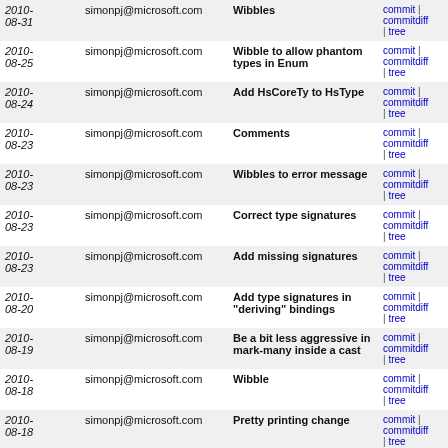| Date | Author | Message | Links |
| --- | --- | --- | --- |
| 2010-08-31 | simonpj@microsoft.com | Wibbles | commit | commitdiff | tree |
| 2010-08-25 | simonpj@microsoft.com | Wibble to allow phantom types in Enum | commit | commitdiff | tree |
| 2010-08-24 | simonpj@microsoft.com | Add HsCoreTy to HsType | commit | commitdiff | tree |
| 2010-08-23 | simonpj@microsoft.com | Comments | commit | commitdiff | tree |
| 2010-08-23 | simonpj@microsoft.com | Wibbles to error message | commit | commitdiff | tree |
| 2010-08-23 | simonpj@microsoft.com | Correct type signatures | commit | commitdiff | tree |
| 2010-08-23 | simonpj@microsoft.com | Add missing signatures | commit | commitdiff | tree |
| 2010-08-20 | simonpj@microsoft.com | Add type signatures in "deriving" bindings | commit | commitdiff | tree |
| 2010-08-19 | simonpj@microsoft.com | Be a bit less aggressive in mark-many inside a cast | commit | commitdiff | tree |
| 2010-08-18 | simonpj@microsoft.com | Wibble | commit | commitdiff | tree |
| 2010-08-18 | simonpj@microsoft.com | Pretty printing change | commit | commitdiff | tree |
| 2010-08-11 | simonpj@microsoft.com | Remember to zonk FlatSkols! | commit | commitdiff | tree |
| 2010-07-30 | simonpj@microsoft.com | De-polymorphise | commit | commitdiff | tree |
| 2010- | simonpj@microsoft.com | Work around missing type | commit | |